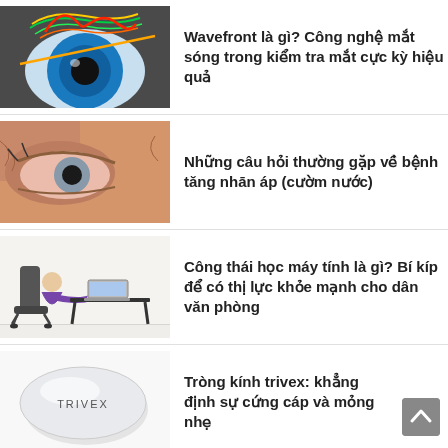[Figure (illustration): 3D illustration of wavefront/eye optics showing a blue eye cross-section with colorful wavefront surface above it and an orange beam]
Wavefront là gì? Công nghệ mắt sóng trong kiểm tra mắt cực kỳ hiệu quả
[Figure (photo): Close-up photo of an elderly man's eye showing redness and age-related features]
Những câu hỏi thường gặp về bệnh tăng nhān áp (cườm nước)
[Figure (photo): Photo of a person in purple shirt sitting at a desk with a laptop, demonstrating computer ergonomics]
Công thái học máy tính là gì? Bí kíp để có thị lực khỏe mạnh cho dân văn phòng
[Figure (illustration): Illustration of a Trivex lens - an oval/elliptical light gray lens with 'TRIVEX' label]
Tròng kính trivex: khẳng định sự cứng cáp và mỏng nhẹ